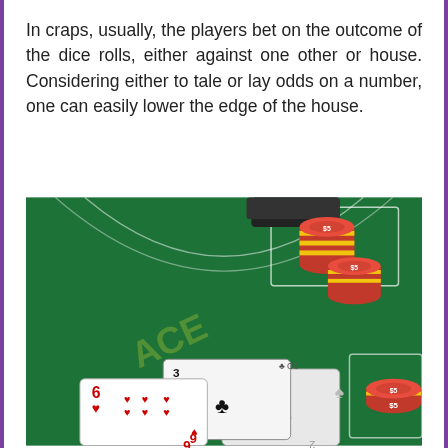In craps, usually, the players bet on the outcome of the dice rolls, either against one other or house. Considering either to tale or lay odds on a number, one can easily lower the edge of the house.
[Figure (photo): A casino table (blackjack/craps felt) showing playing cards (a 6 of hearts, a 3 of clubs, and another card showing spades) and stacks of red and yellow poker chips on green felt.]